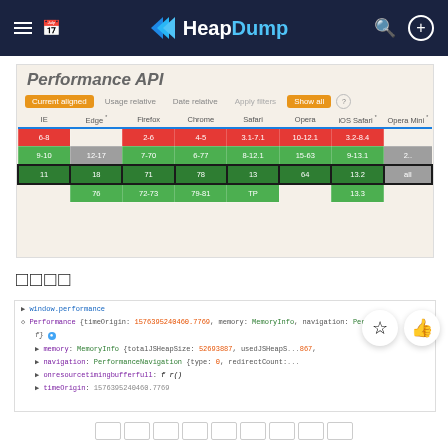HeapDump
[Figure (screenshot): Browser compatibility table for Performance API showing support across IE, Edge, Firefox, Chrome, Safari, Opera, iOS Safari, Opera Mini with color-coded version ranges (red=partial, green=supported, dark green=current, gray=limited). Filter controls: Current aligned, Usage relative, Date relative, Apply filters, Show all.]
□□□□
▶ window.performance
◇ Performance {timeOrigin: 1576395240460.7769, memory: MemoryInfo, navigation: Performa
  f} ●
  ▶ memory: MemoryInfo {totalJSHeapSize: 52693887, usedJSHeapS 867,
  ▶ navigation: PerformanceNavigation {type: 0, redirectCount:
  ▶ onresourcetimingbufferfull: f r()
  ▶ timeOrigin: 1576395240460.7769
□□□□□□□□□